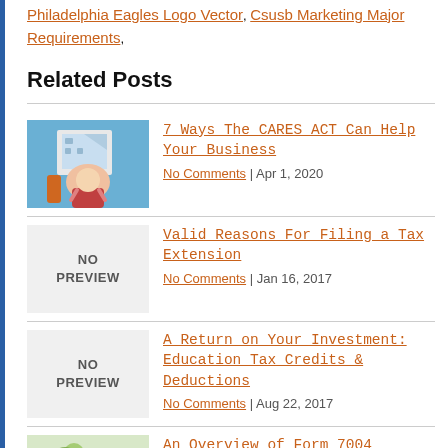Philadelphia Eagles Logo Vector, Csusb Marketing Major Requirements,
Related Posts
7 Ways The CARES ACT Can Help Your Business | No Comments | Apr 1, 2020
Valid Reasons For Filing a Tax Extension | No Comments | Jan 16, 2017
A Return on Your Investment: Education Tax Credits & Deductions | No Comments | Aug 22, 2017
An Overview of Form 7004 | No Comments | Jan 14, 2021